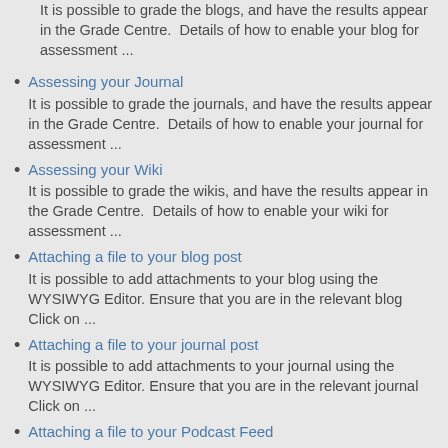It is possible to grade the blogs, and have the results appear in the Grade Centre.  Details of how to enable your blog for assessment ...
Assessing your Journal
It is possible to grade the journals, and have the results appear in the Grade Centre.  Details of how to enable your journal for assessment ...
Assessing your Wiki
It is possible to grade the wikis, and have the results appear in the Grade Centre.  Details of how to enable your wiki for assessment ...
Attaching a file to your blog post
It is possible to add attachments to your blog using the WYSIWYG Editor. Ensure that you are in the relevant blog Click on ...
Attaching a file to your journal post
It is possible to add attachments to your journal using the WYSIWYG Editor. Ensure that you are in the relevant journal Click on ...
Attaching a file to your Podcast Feed
It is possible to add attachments to your podcast using the WYSIWYG Editor. Ensure that you are in the relevant podcast Click on ...
Attaching a file to your Wiki Page
It is possible to add attachments to your wiki using the